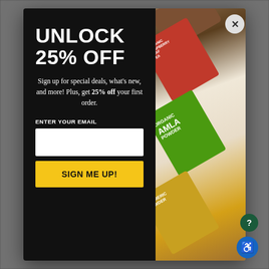[Figure (screenshot): Website popup modal with black left panel and product image right panel. Modal overlays a blurred e-commerce website background.]
UNLOCK 25% OFF
Sign up for special deals, what's new, and more! Plus, get 25% off your first order.
ENTER YOUR EMAIL
SIGN ME UP!